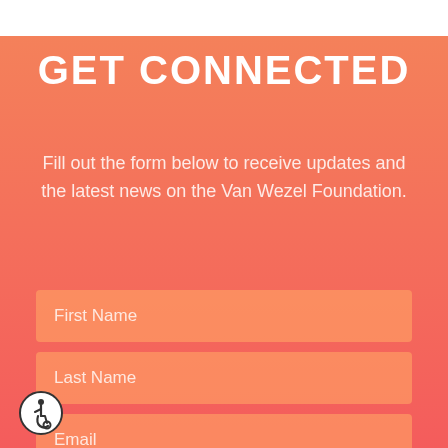GET CONNECTED
Fill out the form below to receive updates and the latest news on the Van Wezel Foundation.
First Name
Last Name
Email
SUBSCRIBE
[Figure (illustration): Accessibility icon: circular badge with wheelchair user symbol]